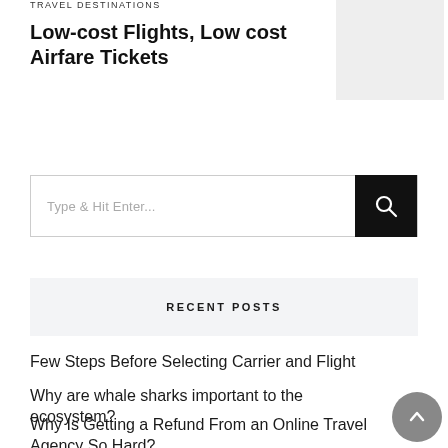TRAVEL DESTINATIONS
Low-cost Flights, Low cost Airfare Tickets
[Figure (photo): Gray placeholder image in top right corner]
Type & Hit Enter...
RECENT POSTS
Few Steps Before Selecting Carrier and Flight
Why are whale sharks important to the ecosystem?
Why Is Getting a Refund From an Online Travel Agency So Hard?